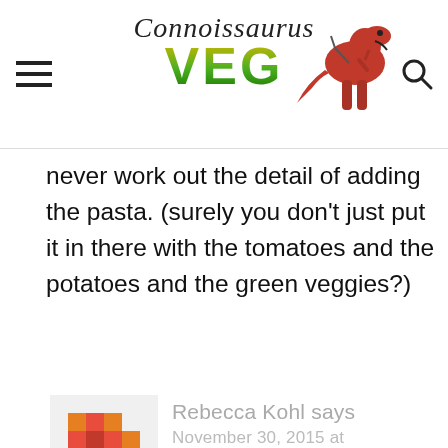Connoissaurus VEG
never work out the detail of adding the pasta. (surely you don't just put it in there with the tomatoes and the potatoes and the green veggies?)
Reply
[Figure (illustration): Gravatar/avatar placeholder image with orange and red pixel pattern]
Rebecca Kohl says
November 30, 2015 at